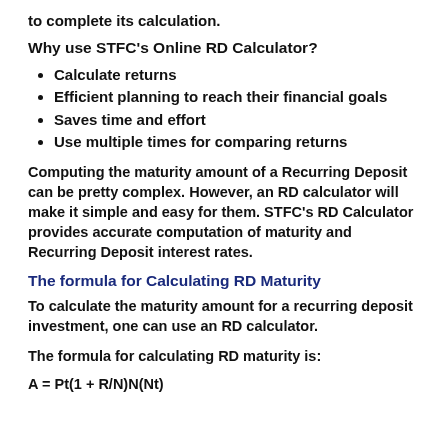to complete its calculation.
Why use STFC's Online RD Calculator?
Calculate returns
Efficient planning to reach their financial goals
Saves time and effort
Use multiple times for comparing returns
Computing the maturity amount of a Recurring Deposit can be pretty complex. However, an RD calculator will make it simple and easy for them. STFC's RD Calculator provides accurate computation of maturity and Recurring Deposit interest rates.
The formula for Calculating RD Maturity
To calculate the maturity amount for a recurring deposit investment, one can use an RD calculator.
The formula for calculating RD maturity is: